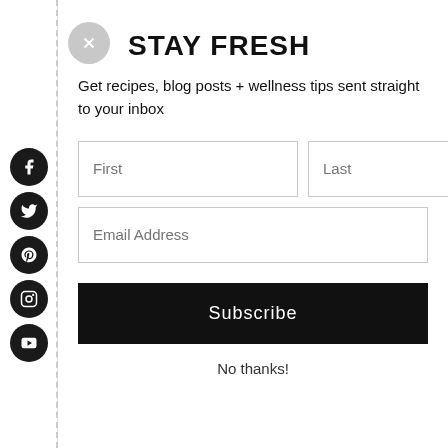STAY FRESH
Get recipes, blog posts + wellness tips sent straight to your inbox
No thanks!